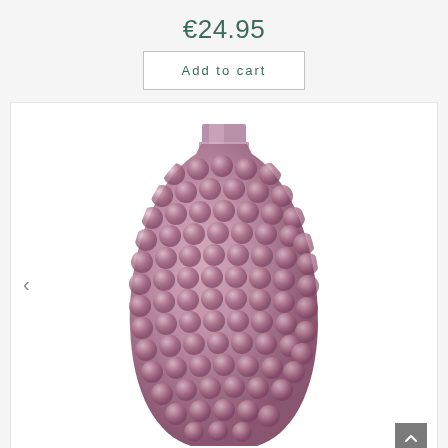€24.95
Add to cart
[Figure (photo): A textured hobnail glass vase in mauve/dusty purple color with bubble-dot pattern covering its surface, narrow neck with flat rim, photographed against a white background.]